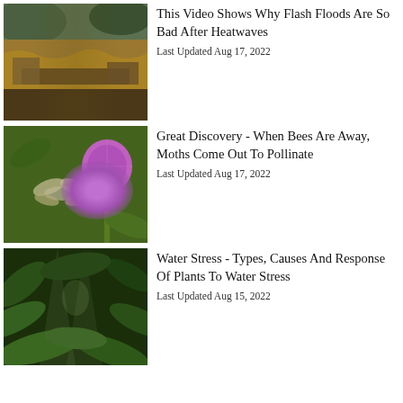[Figure (photo): Aerial view of flash flood with muddy brown water over a town with a collapsed bridge]
This Video Shows Why Flash Floods Are So Bad After Heatwaves
Last Updated Aug 17, 2022
[Figure (photo): A hummingbird hawk-moth hovering near a purple thistle flower against a green background]
Great Discovery - When Bees Are Away, Moths Come Out To Pollinate
Last Updated Aug 17, 2022
[Figure (photo): Dense tropical green plants and ferns with light filtering through the canopy]
Water Stress - Types, Causes And Response Of Plants To Water Stress
Last Updated Aug 15, 2022